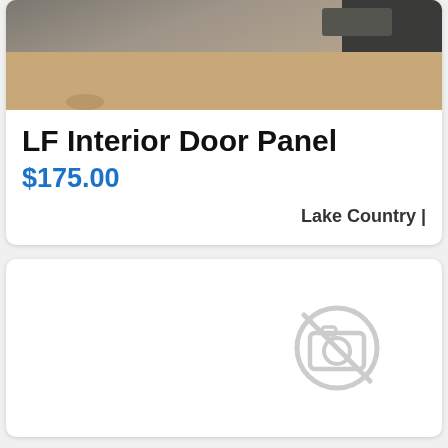[Figure (photo): Partial photo of a car interior door panel area showing sand-colored surface and dark trim at the top, cropped at the top of the listing card.]
LF Interior Door Panel
$175.00
Lake Country |
[Figure (photo): Placeholder/no-image icon: a camera with a diagonal line through it, in light gray, inside a circle outline, on a white card background.]